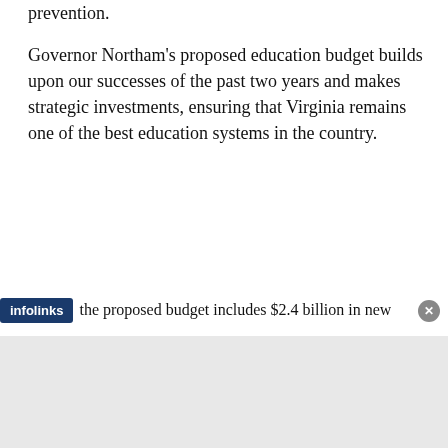prevention.
Governor Northam’s proposed education budget builds upon our successes of the past two years and makes strategic investments, ensuring that Virginia remains one of the best education systems in the country.
A cornerstone of this investment is a 10 percent pay raise for teachers over the biennium. This means that Virginia teacher pay will exceed the national average.
the proposed budget includes $2.4 billion in new